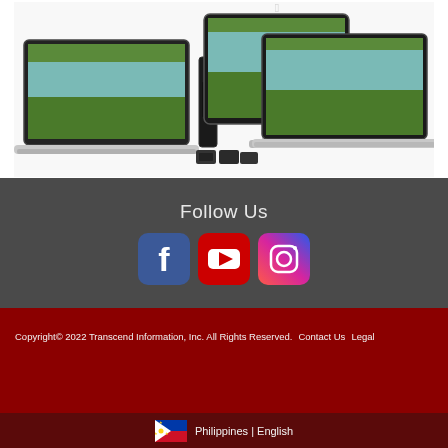[Figure (photo): Product photo showing Apple Mac devices including MacBook, iMac, Mac Mini, external SSD drives, and memory cards arranged together]
Follow Us
[Figure (illustration): Social media icons: Facebook (blue rounded square), YouTube (red rounded square), Instagram (gradient rounded square)]
Copyright© 2022 Transcend Information, Inc. All Rights Reserved.   Contact Us   Legal
Philippines | English